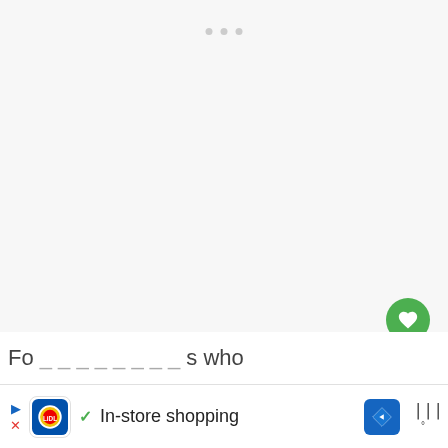[Figure (screenshot): Webpage screenshot showing a mostly blank/loading content area with navigation dots at top, a green heart/like button, a count of 14, a share button, and a 'What's Next' card showing 'What is Negative...' with a thumbnail. At the bottom is a Lidl ad banner reading 'In-store shopping' with play/close controls, Lidl logo, checkmark, navigation icon, and weather widget icons.]
Fo...s who us...that
In-store shopping
14
WHAT'S NEXT → What is Negative...